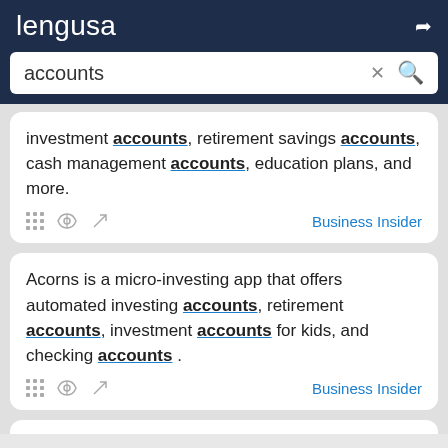lengusa
accounts
investment accounts, retirement savings accounts, cash management accounts, education plans, and more.
Business Insider
Acorns is a micro-investing app that offers automated investing accounts, retirement accounts, investment accounts for kids, and checking accounts .
Business Insider
The data looked at non-retirement investment accounts,